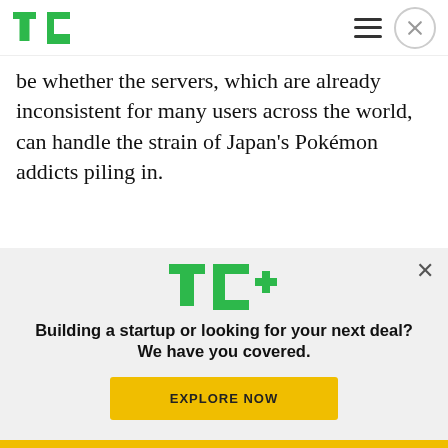TechCrunch
be whether the servers, which are already inconsistent for many users across the world, can handle the strain of Japan's Pokémon addicts piling in.
[Figure (screenshot): Three Pokémon GO app screenshots side by side showing the game map, a PokéStop notification in Japanese, and a Wall Art PokéStop.]
[Figure (logo): TechCrunch TC+ logo in green with a plus sign in green]
Building a startup or looking for your next deal? We have you covered.
EXPLORE NOW